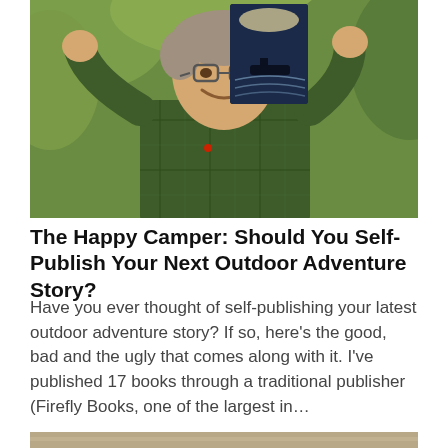[Figure (photo): A smiling man wearing glasses and a green plaid shirt, holding up a book with a dark dramatic cover showing a submarine or ship on water, photographed outdoors with green foliage in background.]
The Happy Camper: Should You Self-Publish Your Next Outdoor Adventure Story?
Have you ever thought of self-publishing your latest outdoor adventure story? If so, here's the good, bad and the ugly that comes along with it. I've published 17 books through a traditional publisher (Firefly Books, one of the largest in…
[Figure (photo): Partial view of another photo at the bottom of the page, showing what appears to be an outdoor or nature scene.]